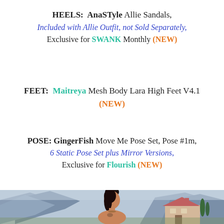HEELS: AnaSTyle Allie Sandals, Included with Allie Outfit, not Sold Separately, Exclusive for SWANK Monthly (NEW)
FEET: Maitreya Mesh Body Lara High Feet V4.1 (NEW)
POSE: GingerFish Move Me Pose Set, Pose #1m, 6 Static Pose Set plus Mirror Versions, Exclusive for Flourish (NEW)
[Figure (photo): A female avatar with dark hair in a bun, wearing jewelry and a tattoo on neck/chest, posed against a mountainous blue landscape with a pink/beige house and cypress trees in the background.]